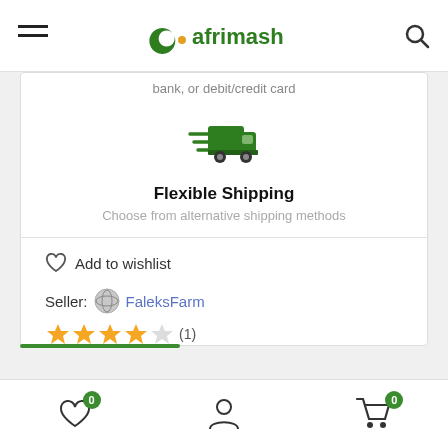afrimash
bank, or debit/credit card
[Figure (illustration): Green delivery truck icon with speed lines]
Flexible Shipping
Choose from alternative shipping methods
Add to wishlist
Seller: FaleksFarm
(1) - 4 star rating out of 5
0 wishlist | account | 0 cart